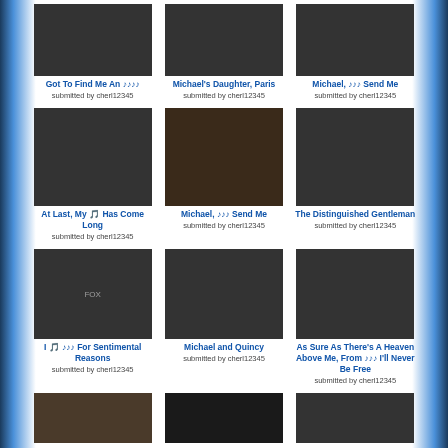[Figure (photo): Photo of Michael Jackson in black outfit]
Got To Find Me An 𝄞𝄞𝄞𝄞
submitted by cherl12345
[Figure (photo): Michael's Daughter Paris photo]
Michael's Daughter, Paris
submitted by cherl12345
[Figure (photo): Michael Jackson in formal wear]
Michael, 𝄞𝄞𝄞 Send Me
submitted by cherl12345
[Figure (photo): Michael Jackson in black outfit with flower]
At Last, My 🎵 Has Come Long
submitted by cherl12345
[Figure (photo): Woman in sunglasses]
Michael, 𝄞𝄞𝄞 Send Me
submitted by cherl12345
[Figure (photo): Michael Jackson in white suit]
The Distinguished Gentleman
submitted by cherl12345
[Figure (photo): Person in sunglasses FOX watermark]
I 🎵 𝄞𝄞𝄞 For Sentimental Reasons
submitted by cherl12345
[Figure (photo): Michael Jackson and Quincy Jones black and white]
Michael and Quincy
submitted by cherl12345
[Figure (photo): Michael Jackson in red theater seats]
As Sure As There's A Heaven Above Me, From 𝄞𝄞𝄞 I'll Never Be Free
submitted by cherl12345
[Figure (photo): Bottom row photo 1]
[Figure (photo): Bottom row photo 2]
[Figure (photo): Bottom row photo 3]